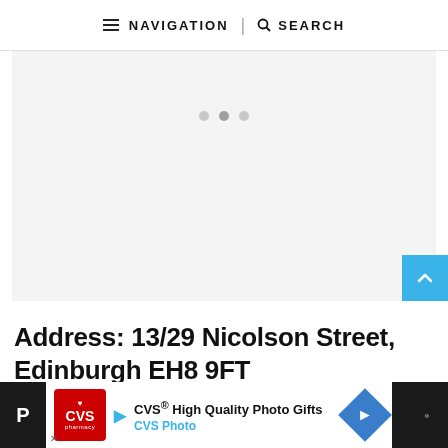≡ NAVIGATION | 🔍 SEARCH
[Figure (other): Large grey placeholder advertisement area with three dots (loading indicator) in the upper center]
Address: 13/29 Nicolson Street, Edinburgh EH8 9FT
[Figure (other): Bottom advertisement banner for CVS High Quality Photo Gifts / CVS Photo with CVS pharmacy logo, blue arrow navigation icon, and right-pointing diamond icon]